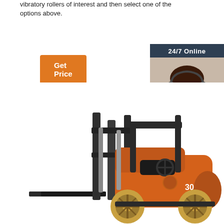vibratory rollers of interest and then select one of the options above.
Get Price
[Figure (photo): Customer service representative with headset smiling, shown in a dark navy chat widget with '24/7 Online' header, 'Click here for free chat!' text, and an orange QUOTATION button.]
[Figure (photo): Orange forklift truck (labeled 30) on white background, facing left with forks extended forward.]